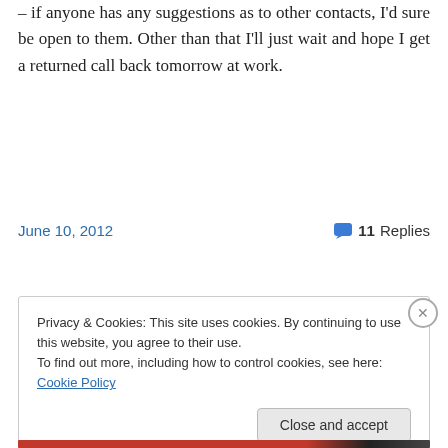– if anyone has any suggestions as to other contacts, I'd sure be open to them. Other than that I'll just wait and hope I get a returned call back tomorrow at work.
June 10, 2012   💬 11 Replies
Privacy & Cookies: This site uses cookies. By continuing to use this website, you agree to their use.
To find out more, including how to control cookies, see here: Cookie Policy
Close and accept